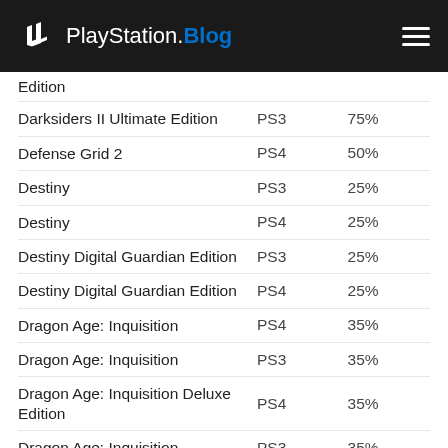PlayStation.Blog
| Game | Platform | Discount |
| --- | --- | --- |
| Edition |  |  |
| Darksiders II Ultimate Edition | PS3 | 75% |
| Defense Grid 2 | PS4 | 50% |
| Destiny | PS3 | 25% |
| Destiny | PS4 | 25% |
| Destiny Digital Guardian Edition | PS3 | 25% |
| Destiny Digital Guardian Edition | PS4 | 25% |
| Dragon Age: Inquisition | PS4 | 35% |
| Dragon Age: Inquisition | PS3 | 35% |
| Dragon Age: Inquisition Deluxe Edition | PS4 | 35% |
| Dragon Age: Inquisition | PS3 | 35% |